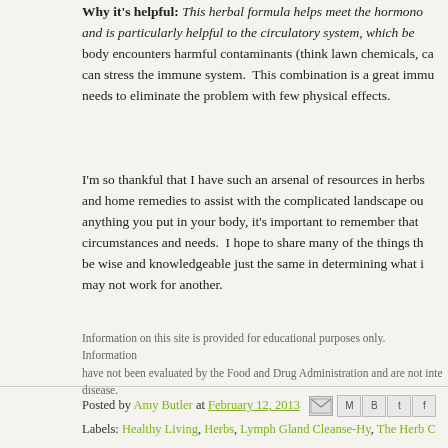Why it's helpful: This herbal formula helps meet the hormonal needs and is particularly helpful to the circulatory system, which benefits when the body encounters harmful contaminants (think lawn chemicals, car exhaust) that can stress the immune system. This combination is a great immune booster and needs to eliminate the problem with few physical effects.
I'm so thankful that I have such an arsenal of resources in herbs and home remedies to assist with the complicated landscape our... anything you put in your body, it's important to remember that circumstances and needs. I hope to share many of the things that... be wise and knowledgeable just the same in determining what is... may not work for another.
Information on this site is provided for educational purposes only. Information... have not been evaluated by the Food and Drug Administration and are not inte... disease.
Posted by Amy Butler at February 12, 2013
Labels: Healthy Living, Herbs, Lymph Gland Cleanse-Hy, The Herb C...